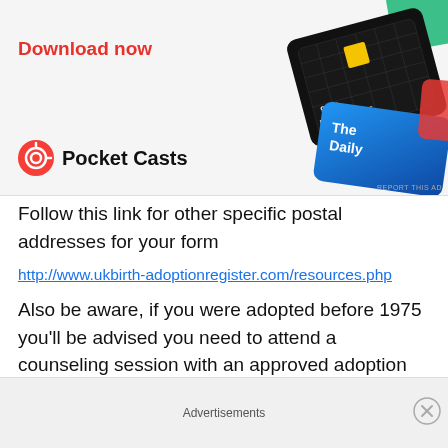[Figure (illustration): Advertisement banner for Pocket Casts app showing podcast cards (99% Invisible, The Daily) and a red 'Download now' text with the Pocket Casts logo.]
Follow this link for other specific postal addresses for your form
http://www.ukbirth-adoptionregister.com/resources.php
Also be aware, if you were adopted before 1975 you'll be advised you need to attend a counseling session with an approved adoption advisor. If you choose to take
Advertisements